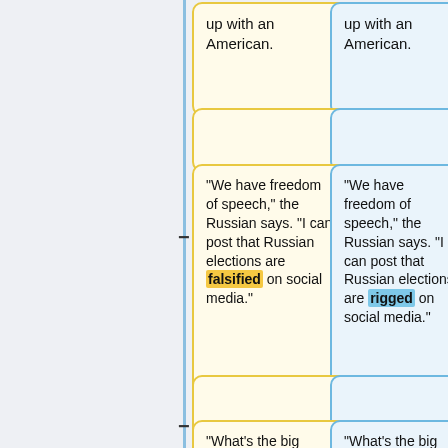up with an American.
up with an American.
"We have freedom of speech," the Russian says. "I can post that Russian elections are falsified on social media."
"We have freedom of speech," the Russian says. "I can post that Russian elections are rigged on social media."
"What's the big deal?" asks the American. "I too can write that Russian elections are falsified on social
"What's the big deal?" asks the American. "I too can write that Russian elections are rigged on social